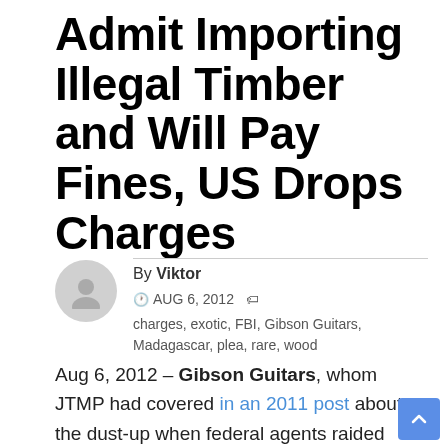Admit Importing Illegal Timber and Will Pay Fines, US Drops Charges
By Viktor · AUG 6, 2012 · charges, exotic, FBI, Gibson Guitars, Madagascar, plea, rare, wood
Aug 6, 2012 – Gibson Guitars, whom JTMP had covered in an 2011 post about the dust-up when federal agents raided their factory and